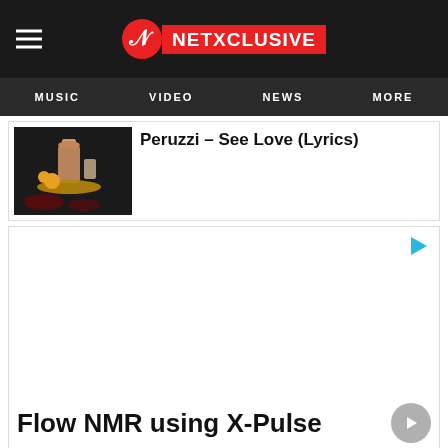[Figure (logo): Netxclusive website logo and navigation header with hamburger menu, red logo box, and navigation links: MUSIC, VIDEO, NEWS, MORE]
[Figure (photo): Album art thumbnail showing a bottle and fruits on a dark background]
Peruzzi – See Love (Lyrics)
[Figure (infographic): Advertisement block with play icon in top right, and text 'Flow NMR using X-Pulse' with a grey circular arrow button]
Flow NMR using X-Pulse